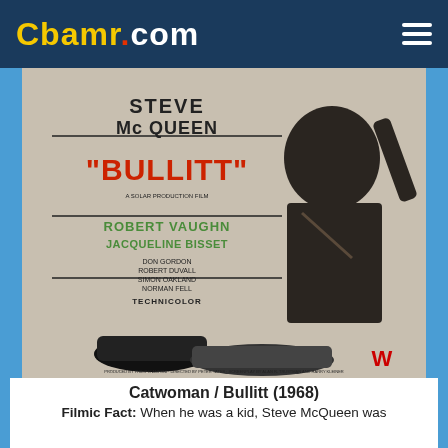CBAMR.COM
[Figure (photo): Movie poster for 'Bullitt' (1968) featuring Steve McQueen. Text on poster: STEVE McQUEEN, 'BULLITT', ROBERT VAUGHN, JACQUELINE BISSET, DON GORDON, ROBERT DUVALL, SIMON OAKLAND, NORMAN FELL, TECHNICOLOR. Warner Bros logo. Image shows a man in a dark jacket with arm raised and two cars at bottom.]
Catwoman / Bullitt (1968)
Filmic Fact: When he was a kid, Steve McQueen was